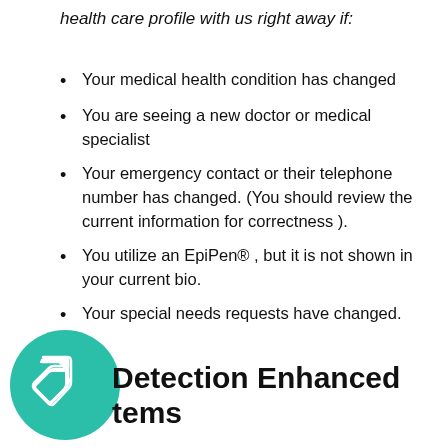health care profile with us right away if:
Your medical health condition has changed
You are seeing a new doctor or medical specialist
Your emergency contact or their telephone number has changed. (You should review the current information for correctness ).
You utilize an EpiPen® , but it is not shown in your current bio.
Your special needs requests have changed.
Detection Enhanced tems